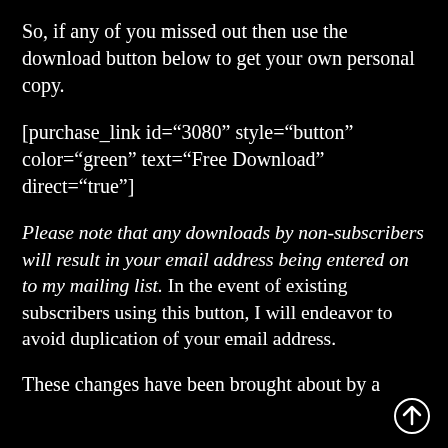So, if any of you missed out then use the download button below to get your own personal copy.
[purchase_link id="3080" style="button" color="green" text="Free Download" direct="true"]
Please note that any downloads by non-subscribers will result in your email address being entered on to my mailing list. In the event of existing subscribers using this button, I will endeavor to avoid duplication of your email address.
These changes have been brought about by a